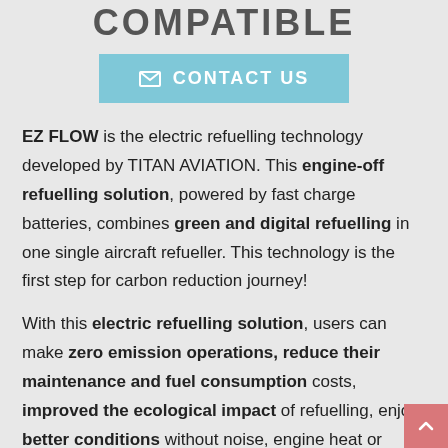COMPATIBLE
[Figure (other): Light blue 'CONTACT US' button with envelope icon]
EZ FLOW is the electric refuelling technology developed by TITAN AVIATION. This engine-off refuelling solution, powered by fast charge batteries, combines green and digital refuelling in one single aircraft refueller. This technology is the first step for carbon reduction journey!
With this electric refuelling solution, users can make zero emission operations, reduce their maintenance and fuel consumption costs, improved the ecological impact of refuelling, enjoy better conditions without noise, engine heat or vibration... This is the best ecological solution for